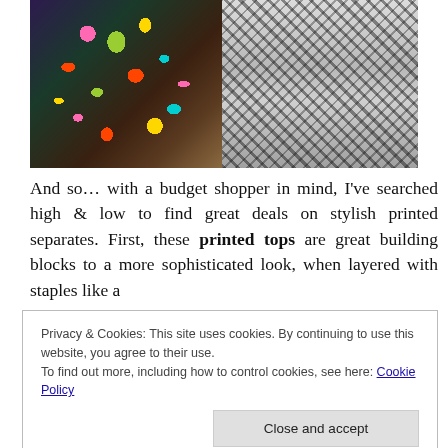[Figure (photo): Two side-by-side fashion photos showing legs and feet. Left photo: person wearing colorful floral print pants with leopard print pointed-toe heels on a sidewalk. Right photo: person wearing black and white geometric/zebra print pants with blue pointed-toe cap-toe heels against a white wall.]
And so… with a budget shopper in mind, I've searched high & low to find great deals on stylish printed separates. First, these printed tops are great building blocks to a more sophisticated look, when layered with staples like a
Privacy & Cookies: This site uses cookies. By continuing to use this website, you agree to their use.
To find out more, including how to control cookies, see here: Cookie Policy
Close and accept